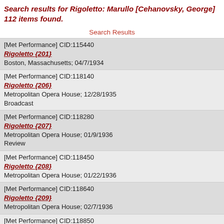Search results for Rigoletto: Marullo [Cehanovsky, George] 112 items found.
Search Results
[Met Performance] CID:115440
Rigoletto {201}
Boston, Massachusetts; 04/7/1934
[Met Performance] CID:118140
Rigoletto {206}
Metropolitan Opera House; 12/28/1935
Broadcast
[Met Performance] CID:118280
Rigoletto {207}
Metropolitan Opera House; 01/9/1936
Review
[Met Performance] CID:118450
Rigoletto {208}
Metropolitan Opera House; 01/22/1936
[Met Performance] CID:118640
Rigoletto {209}
Metropolitan Opera House; 02/7/1936
[Met Performance] CID:118850
Rigoletto {210}
Metropolitan Opera House; 02/22/1936
[Met Performance] CID:119060
Rigoletto {211}
Metropolitan Opera House; 03/9/1936